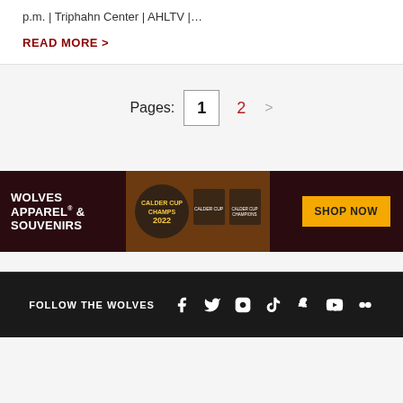p.m. | Triphahn Center | AHLTV |…
READ MORE >
Pages: 1 2 >
[Figure (infographic): Wolves Apparel & Souvenirs advertisement banner showing championship merchandise (t-shirts, hat) with 'Champs 2022' text and a 'SHOP NOW' button on dark red background]
FOLLOW THE WOLVES [Facebook] [Twitter] [Instagram] [TikTok] [Snapchat] [YouTube] [Flickr]